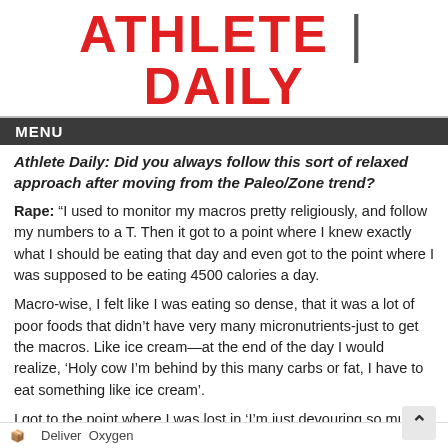ATHLETE | DAILY
MENU
Athlete Daily: Did you always follow this sort of relaxed approach after moving from the Paleo/Zone trend?
Rape: “I used to monitor my macros pretty religiously, and follow my numbers to a T. Then it got to a point where I knew exactly what I should be eating that day and even got to the point where I was supposed to be eating 4500 calories a day.
Macro-wise, I felt like I was eating so dense, that it was a lot of poor foods that didn’t have very many micronutrients-just to get the macros. Like ice cream—at the end of the day I would realize, ‘Holy cow I’m behind by this many carbs or fat, I have to eat something like ice cream’.
I got to the point where I was lost in ‘I’m just devouring so much food’ that I had to tailor it back a bit and focus more on quality food.”
Athlete Daily    Deliver  Oxygen